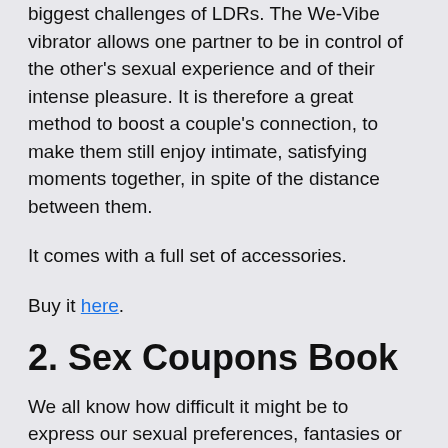biggest challenges of LDRs. The We-Vibe vibrator allows one partner to be in control of the other's sexual experience and of their intense pleasure. It is therefore a great method to boost a couple's connection, to make them still enjoy intimate, satisfying moments together, in spite of the distance between them.
It comes with a full set of accessories.
Buy it here.
2. Sex Coupons Book
We all know how difficult it might be to express our sexual preferences, fantasies or desires, even or especially in front of a screen. This little sexy coupon book could be your way to